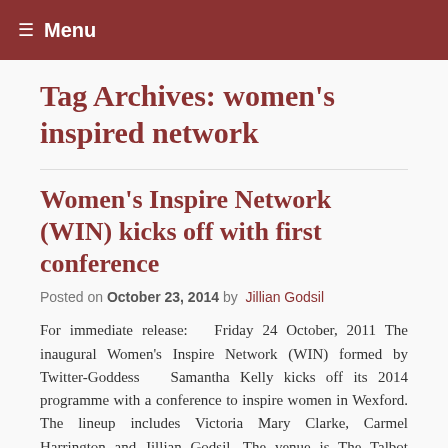☰ Menu
Tag Archives: women's inspired network
Women's Inspire Network (WIN) kicks off with first conference
Posted on October 23, 2014 by Jillian Godsil
For immediate release:  Friday 24 October, 2011 The inaugural Women's Inspire Network (WIN) formed by Twitter-Goddess  Samantha Kelly kicks off its 2014 programme with a conference to inspire women in Wexford. The lineup includes Victoria Mary Clarke, Carmel Harrington and Jillian Godsil. The venue is The Talbot Hotel, Wexford, on Wednesday 29th October from 9am until 1pm, when lunch and networking will take place. The theme is